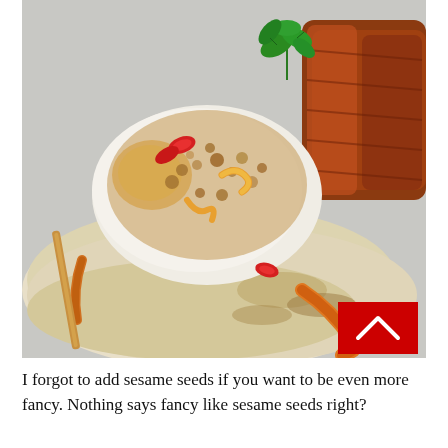[Figure (photo): Close-up food photo of a flatbread/tortilla topped with a fried egg, brown crumble topping, red chili slices, orange sauce (likely sriracha mayo or similar), and a green herb garnish (parsley). Strips of caramelized/grilled meat visible on the right side. A red scroll-to-top button with a white chevron is overlaid in the bottom-right corner of the image.]
I forgot to add sesame seeds if you want to be even more fancy. Nothing says fancy like sesame seeds right?